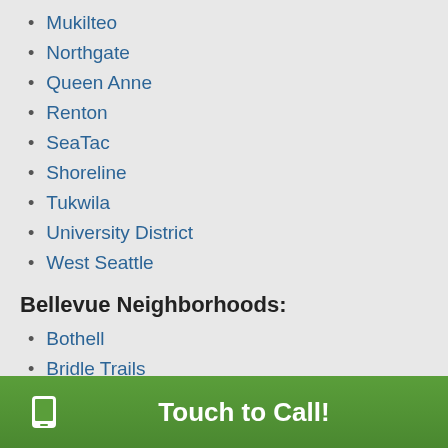Mukilteo
Northgate
Queen Anne
Renton
SeaTac
Shoreline
Tukwila
University District
West Seattle
Bellevue Neighborhoods:
Bothell
Bridle Trails
Eastgate
Interlake
Kirkland
Mercer Island
Touch to Call!